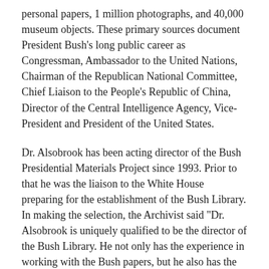personal papers, 1 million photographs, and 40,000 museum objects. These primary sources document President Bush's long public career as Congressman, Ambassador to the United Nations, Chairman of the Republican National Committee, Chief Liaison to the People's Republic of China, Director of the Central Intelligence Agency, Vice-President and President of the United States.
Dr. Alsobrook has been acting director of the Bush Presidential Materials Project since 1993. Prior to that he was the liaison to the White House preparing for the establishment of the Bush Library. In making the selection, the Archivist said "Dr. Alsobrook is uniquely qualified to be the director of the Bush Library. He not only has the experience in working with the Bush papers, but he also has the wider perspective of having spent ten years as the supervisory archivist at the Carter Library in Atlanta, Georgia. I am confident that under his direction, the Bush Library will be an active and vital research center."
Dr. Alsobrook received a Ph.D. in U.S. history from Auburn